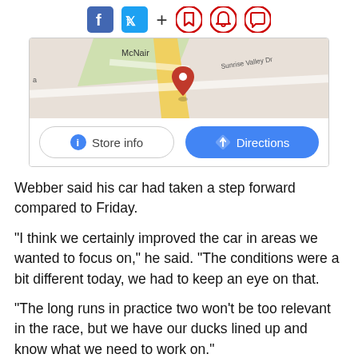Social sharing icons: Facebook, Twitter, plus, bookmark, bell, comment
[Figure (map): Google Maps embed showing McNair area with Sunrise Valley Dr, a red location pin, and Store info / Directions buttons below]
Webber said his car had taken a step forward compared to Friday.
"I think we certainly improved the car in areas we wanted to focus on," he said. "The conditions were a bit different today, we had to keep an eye on that.
"The long runs in practice two won't be too relevant in the race, but we have our ducks lined up and know what we need to work on."
SPEED TRAP FIGURES